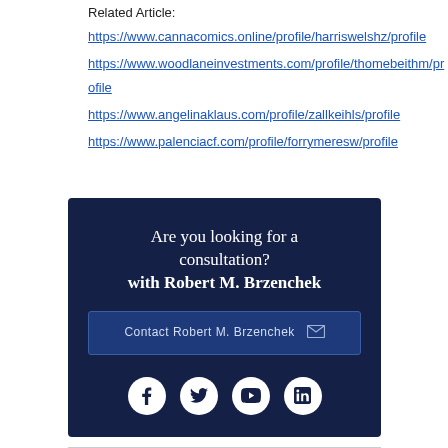Related Article:
https://www.cannacomics.online/profile/harriswelshz/profile
https://www.woodlaneinvestments.com/profile/thomebeithm/profile
https://www.angelinaklaus.com/profile/zallkeihls/profile
https://www.palenciacf.com/profile/forrymeresw/profile
[Figure (infographic): Dark navy promotional banner reading 'Are you looking for a consultation? with Robert M. Brzenchek' with a contact button and social media icons (Facebook, Twitter, YouTube, LinkedIn)]